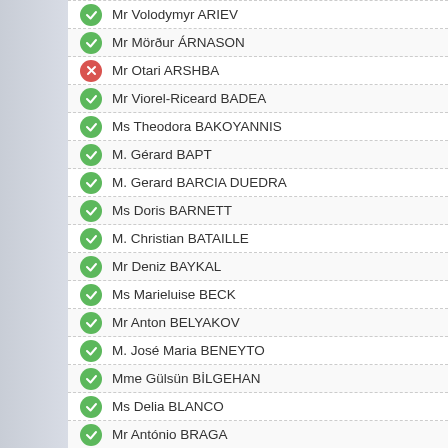Mr Volodymyr ARIEV
Mr Mörður ÁRNASON
Mr Otari ARSHBA
Mr Viorel-Riceard BADEA
Ms Theodora BAKOYANNIS
M. Gérard BAPT
M. Gerard BARCIA DUEDRA
Ms Doris BARNETT
M. Christian BATAILLE
Mr Deniz BAYKAL
Ms Marieluise BECK
Mr Anton BELYAKOV
M. José Maria BENEYTO
Mme Gülsün BİLGEHAN
Ms Delia BLANCO
Mr António BRAGA
Mme Anne BRASSEUR